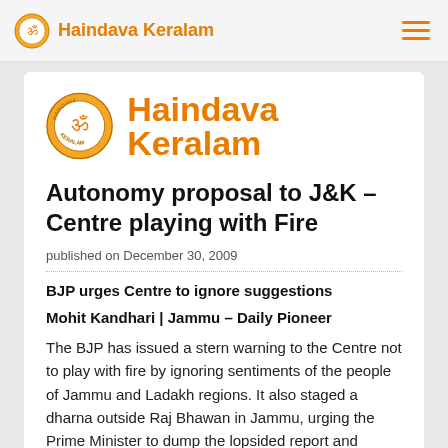Haindava Keralam
[Figure (logo): Haindava Keralam logo with orange circular emblem and brand name in orange]
Autonomy proposal to J&K – Centre playing with Fire
published on December 30, 2009
BJP urges Centre to ignore suggestions
Mohit Kandhari | Jammu – Daily Pioneer
The BJP has issued a stern warning to the Centre not to play with fire by ignoring sentiments of the people of Jammu and Ladakh regions. It also staged a dharna outside Raj Bhawan in Jammu, urging the Prime Minister to dump the lopsided report and â€˜not to takeâ€™ any action on its